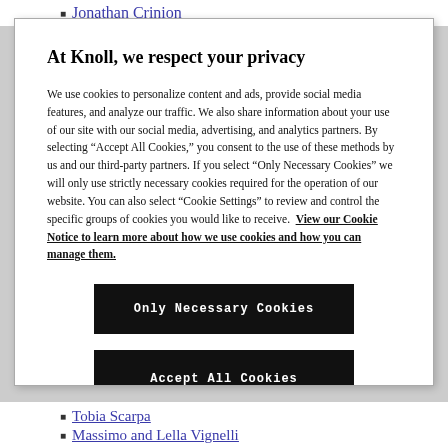Jonathan Crinion
At Knoll, we respect your privacy
We use cookies to personalize content and ads, provide social media features, and analyze our traffic. We also share information about your use of our site with our social media, advertising, and analytics partners. By selecting “Accept All Cookies,” you consent to the use of these methods by us and our third-party partners. If you select "Only Necessary Cookies" we will only use strictly necessary cookies required for the operation of our website. You can also select "Cookie Settings" to review and control the specific groups of cookies you would like to receive.  View our Cookie Notice to learn more about how we use cookies and how you can manage them.
Only Necessary Cookies
Accept All Cookies
Cookies Settings
Tobia Scarpa
Massimo and Lella Vignelli